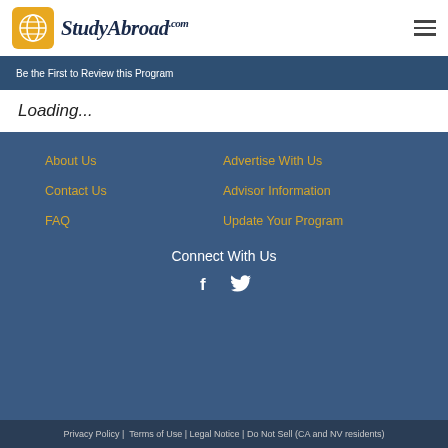StudyAbroad.com
Be the First to Review this Program
Loading...
About Us
Contact Us
FAQ
Advertise With Us
Advisor Information
Update Your Program
Connect With Us
Privacy Policy |  Terms of Use | Legal Notice | Do Not Sell (CA and NV residents)